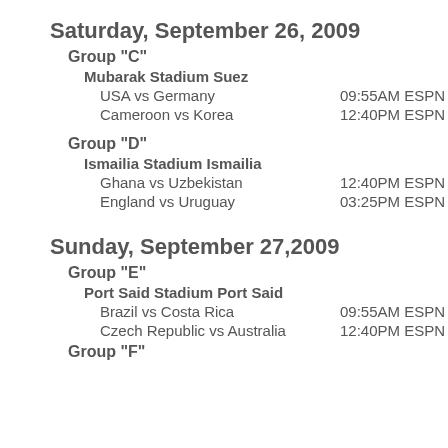Saturday, September 26, 2009
Group "C"
Mubarak Stadium Suez
USA vs Germany   09:55AM ESPN
Cameroon vs Korea   12:40PM ESPN
Group "D"
Ismailia Stadium Ismailia
Ghana vs Uzbekistan   12:40PM ESPN
England vs Uruguay   03:25PM ESPN
Sunday, September 27,2009
Group "E"
Port Said Stadium Port Said
Brazil vs Costa Rica   09:55AM ESPN
Czech Republic vs Australia   12:40PM ESPN
Group "F"